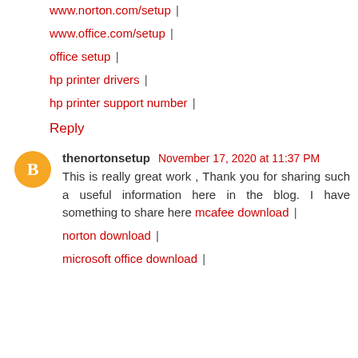www.norton.com/setup |
www.office.com/setup |
office setup |
hp printer drivers |
hp printer support number |
Reply
thenortonsetup November 17, 2020 at 11:37 PM
This is really great work , Thank you for sharing such a useful information here in the blog. I have something to share here mcafee download |
norton download |
microsoft office download |